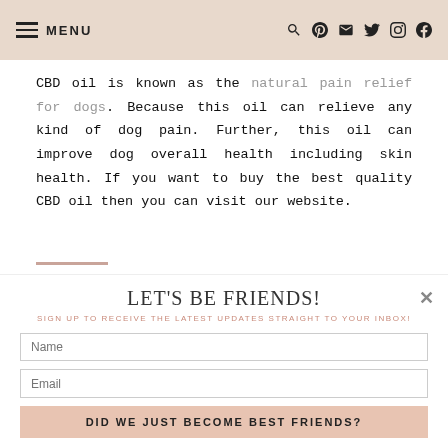MENU [hamburger icon] [search] [pinterest] [email] [twitter] [instagram] [facebook]
CBD oil is known as the natural pain relief for dogs. Because this oil can relieve any kind of dog pain. Further, this oil can improve dog overall health including skin health. If you want to buy the best quality CBD oil then you can visit our website.
LET'S BE FRIENDS!
SIGN UP TO RECEIVE THE LATEST UPDATES STRAIGHT TO YOUR INBOX!
Name
Email
DID WE JUST BECOME BEST FRIENDS?